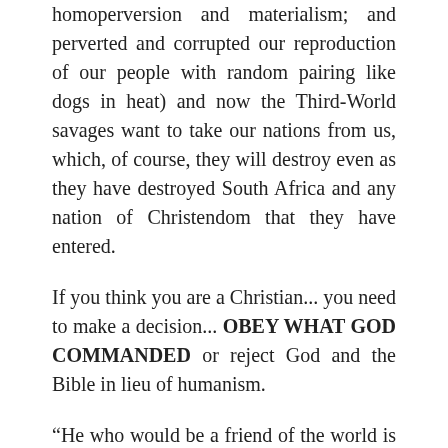homoperversion and materialism; and perverted and corrupted our reproduction of our people with random pairing like dogs in heat) and now the Third-World savages want to take our nations from us, which, of course, they will destroy even as they have destroyed South Africa and any nation of Christendom that they have entered.
If you think you are a Christian... you need to make a decision... OBEY WHAT GOD COMMANDED or reject God and the Bible in lieu of humanism.
“He who would be a friend of the world is the enemy of God.”
Those who are friends with the world are accomplices in the rape of Christ’s bride and the murder of God’s children—and their minds are so perverted that they